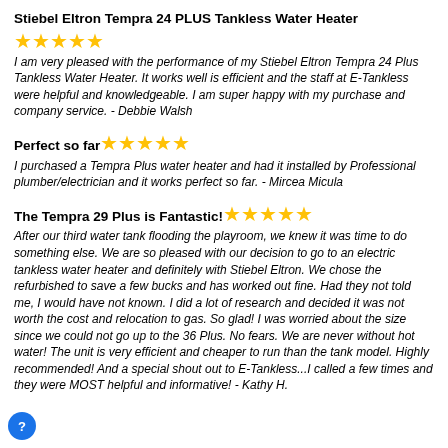Stiebel Eltron Tempra 24 PLUS Tankless Water Heater
★★★★★
I am very pleased with the performance of my Stiebel Eltron Tempra 24 Plus Tankless Water Heater. It works well is efficient and the staff at E-Tankless were helpful and knowledgeable. I am super happy with my purchase and company service. - Debbie Walsh
Perfect so far ★★★★★
I purchased a Tempra Plus water heater and had it installed by Professional plumber/electrician and it works perfect so far. - Mircea Micula
The Tempra 29 Plus is Fantastic! ★★★★★
After our third water tank flooding the playroom, we knew it was time to do something else. We are so pleased with our decision to go to an electric tankless water heater and definitely with Stiebel Eltron. We chose the refurbished to save a few bucks and has worked out fine. Had they not told me, I would have not known. I did a lot of research and decided it was not worth the cost and relocation to gas. So glad! I was worried about the size since we could not go up to the 36 Plus. No fears. We are never without hot water! The unit is very efficient and cheaper to run than the tank model. Highly recommended! And a special shout out to E-Tankless...I called a few times and they were MOST helpful and informative! - Kathy H.